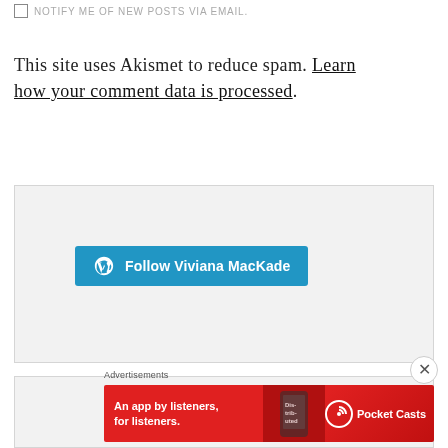NOTIFY ME OF NEW POSTS VIA EMAIL.
This site uses Akismet to reduce spam. Learn how your comment data is processed.
[Figure (other): A WordPress Follow button widget box with light grey background, containing a teal/blue button labeled 'Follow Viviana MacKade' with the WordPress logo icon on the left.]
[Figure (other): A second widget box area with light grey background, partially visible at bottom of page.]
Advertisements
[Figure (other): A red banner advertisement for Pocket Casts app with text 'An app by listeners, for listeners.' and Pocket Casts logo on the right, and a phone image in the middle.]
[Figure (other): A close/dismiss button (X circle) in the lower right area of the page.]